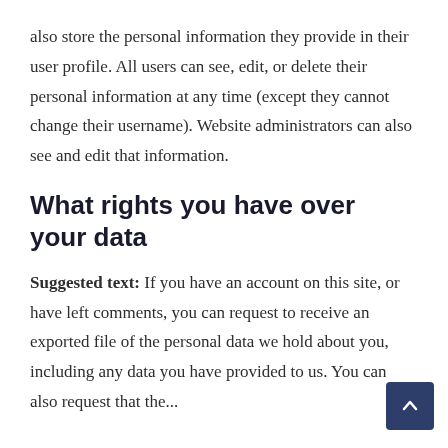also store the personal information they provide in their user profile. All users can see, edit, or delete their personal information at any time (except they cannot change their username). Website administrators can also see and edit that information.
What rights you have over your data
Suggested text: If you have an account on this site, or have left comments, you can request to receive an exported file of the personal data we hold about you, including any data you have provided to us. You can also request that we...